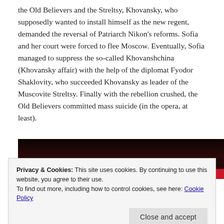the Old Believers and the Streltsy, Khovansky, who supposedly wanted to install himself as the new regent, demanded the reversal of Patriarch Nikon's reforms. Sofia and her court were forced to flee Moscow. Eventually, Sofia managed to suppress the so-called Khovanshchina (Khovansky affair) with the help of the diplomat Fyodor Shaklovity, who succeeded Khovansky as leader of the Muscovite Streltsy. Finally with the rebellion crushed, the Old Believers committed mass suicide (in the opera, at least).
[Figure (photo): A dark photo showing what appears to be people in an opera or theatrical setting, partially visible at top and bottom of the image area.]
Privacy & Cookies: This site uses cookies. By continuing to use this website, you agree to their use.
To find out more, including how to control cookies, see here: Cookie Policy